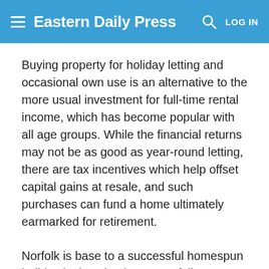Eastern Daily Press
Buying property for holiday letting and occasional own use is an alternative to the more usual investment for full-time rental income, which has become popular with all age groups. While the financial returns may not be as good as year-round letting, there are tax incentives which help offset capital gains at resale, and such purchases can fund a home ultimately earmarked for retirement.
Norfolk is base to a successful homespun holiday lettings business, Norfolk Country Cottages, expanding from modest beginnings to become the leading independent booking agency for self-catering cottages in the county and neighbouring Suffolk.